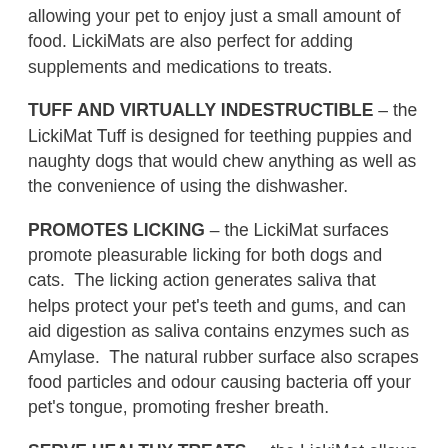allowing your pet to enjoy just a small amount of food. LickiMats are also perfect for adding supplements and medications to treats.
TUFF AND VIRTUALLY INDESTRUCTIBLE – the LickiMat Tuff is designed for teething puppies and naughty dogs that would chew anything as well as the convenience of using the dishwasher.
PROMOTES LICKING – the LickiMat surfaces promote pleasurable licking for both dogs and cats. The licking action generates saliva that helps protect your pet's teeth and gums, and can aid digestion as saliva contains enzymes such as Amylase. The natural rubber surface also scrapes food particles and odour causing bacteria off your pet's tongue, promoting fresher breath.
SERVE HEALTHY TREATS – the LickiMat allows you to serve a wide variety of treats: yogurt, peanut butter, purees, spreads and all manner of organic and healthy pet approved treats. The magic of LickiMat is that challenging